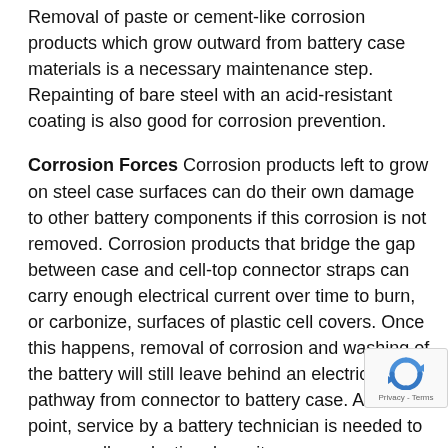Removal of paste or cement-like corrosion products which grow outward from battery case materials is a necessary maintenance step. Repainting of bare steel with an acid-resistant coating is also good for corrosion prevention.
Corrosion Forces Corrosion products left to grow on steel case surfaces can do their own damage to other battery components if this corrosion is not removed. Corrosion products that bridge the gap between case and cell-top connector straps can carry enough electrical current over time to burn, or carbonize, surfaces of plastic cell covers. Once this happens, removal of corrosion and washing of the battery will still leave behind an electrical pathway from connector to battery case. At this point, service by a battery technician is needed to remove all conductive deposits.
Moist corrosion products left on top of the battery ca... erode lead connector straps to the point that they ca... longer safely carry high battery currents. If any arcing or
[Figure (other): reCAPTCHA badge overlay with circular arrow icon and Privacy - Terms text]